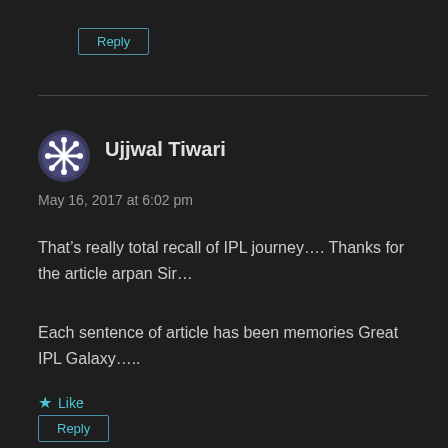Reply
Ujjwal Tiwari
May 16, 2017 at 6:02 pm
That’s really total recall of IPL journey…. Thanks for the article arpan Sir…
Each sentence of article has been memories Great IPL Galaxy…..
★ Like
Reply